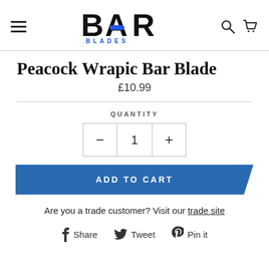[Figure (logo): Bar Blades logo with blue tubular B-A-R letters and BLADES text below]
Peacock Wrapic Bar Blade
£10.99
QUANTITY
1
ADD TO CART
Are you a trade customer? Visit our trade site
Share  Tweet  Pin it